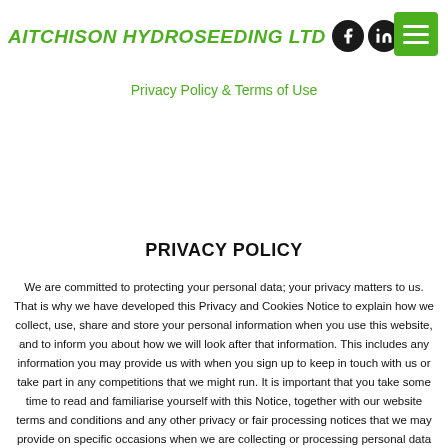AITCHISON HYDROSEEDING LTD
Privacy Policy & Terms of Use
PRIVACY POLICY
We are committed to protecting your personal data; your privacy matters to us. That is why we have developed this Privacy and Cookies Notice to explain how we collect, use, share and store your personal information when you use this website, and to inform you about how we will look after that information. This includes any information you may provide us with when you sign up to keep in touch with us or take part in any competitions that we might run. It is important that you take some time to read and familiarise yourself with this Notice, together with our website terms and conditions and any other privacy or fair processing notices that we may provide on specific occasions when we are collecting or processing personal data about you. This will help